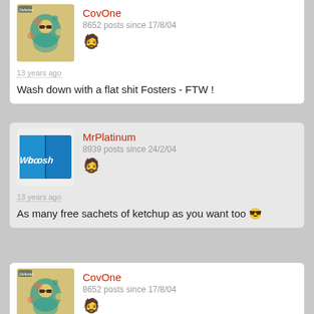CovOne
8652 posts since 17/8/04
13 years ago
Wash down with a flat shit Fosters - FTW !
MrPlatinum
8939 posts since 24/2/04
13 years ago
As many free sachets of ketchup as you want too 😎
CovOne
8652 posts since 17/8/04